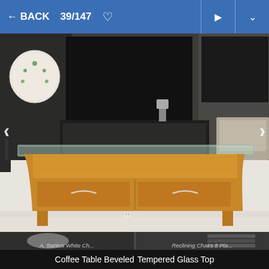← BACK   39/147  ♡
[Figure (photo): A coffee table with a beveled tempered glass top and a natural wood base. The wood base has two drawers with metal handles and curved side supports. The table sits on a light carpet in a living room setting. A TV stand and couch are visible in the background.]
[Figure (photo): Thumbnail strip at bottom showing two partially visible listing images: left thumbnail shows a white chair labeled 'A. Santos White Ch...' and right thumbnail shows stacked items labeled 'Reclining Chairs 8 Pla...']
Coffee Table Beveled Tempered Glass Top